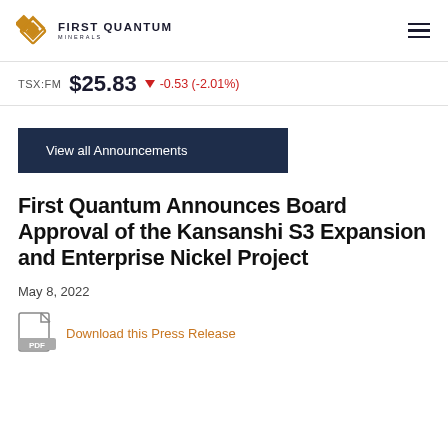FIRST QUANTUM MINERALS
TSX:FM $25.83 -0.53 (-2.01%)
View all Announcements
First Quantum Announces Board Approval of the Kansanshi S3 Expansion and Enterprise Nickel Project
May 8, 2022
Download this Press Release